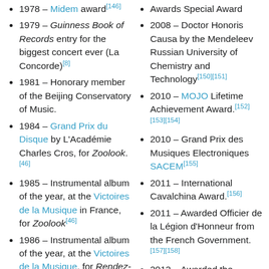1978 – Midem award[146]
1979 – Guinness Book of Records entry for the biggest concert ever (La Concorde)[8]
1981 – Honorary member of the Beijing Conservatory of Music.
1984 – Grand Prix du Disque by L'Académie Charles Cros, for Zoolook.[46]
1985 – Instrumental album of the year, at the Victoires de la Musique in France, for Zoolook[46]
1986 – Instrumental album of the year, at the Victoires de la Musique, for Rendez-vous[46]
1986 – Musical
2007 – LXXXXX Awards Special Award
2008 – Doctor Honoris Causa by the Mendeleev Russian University of Chemistry and Technology[150][151]
2010 – MOJO Lifetime Achievement Award.[152][153][154]
2010 – Grand Prix des Musiques Electroniques SACEM[155]
2011 – International Cavalchina Award.[156]
2011 – Awarded Officier de la Légion d'Honneur from the French Government.[157][158]
2012 – Awarded the "Miembro Honorífico del Claustro Universitario de